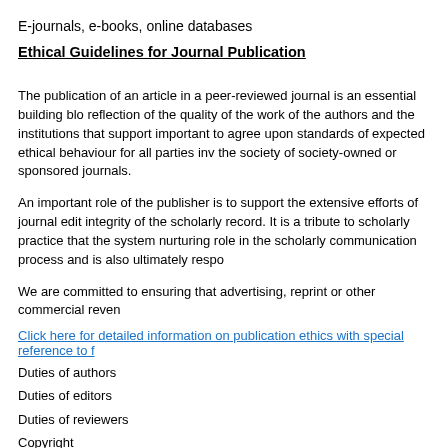E-journals, e-books, online databases
Ethical Guidelines for Journal Publication
The publication of an article in a peer-reviewed journal is an essential building blo... reflection of the quality of the work of the authors and the institutions that support... important to agree upon standards of expected ethical behaviour for all parties inv... the society of society-owned or sponsored journals.
An important role of the publisher is to support the extensive efforts of journal edit... integrity of the scholarly record. It is a tribute to scholarly practice that the system... nurturing role in the scholarly communication process and is also ultimately respo...
We are committed to ensuring that advertising, reprint or other commercial reven...
Click here for detailed information on publication ethics with special reference to f...
Duties of authors
Duties of editors
Duties of reviewers
Copyright
Our objective
What rights do I retain as a journal author?
Commercial purposes and systematic distribution
How to obtain a Journal Publishing Agreement?